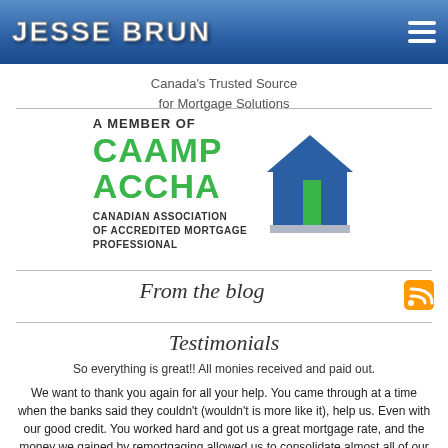JESSE BRUN
Canada's Trusted Source for Mortgage Solutions
[Figure (logo): CAAMP ACCHA logo - Canadian Association of Accredited Mortgage Professional member logo with house icon]
From the blog
Testimonials
So everything is great!! All monies received and paid out.
We want to thank you again for all your help. You came through at a time when the banks said they couldn't (wouldn't is more like it), help us. Even with our good credit. You worked hard and got us a great mortgage rate, and the money we gained by remortgaging allowed us to consolidate almost all of our debts. We both